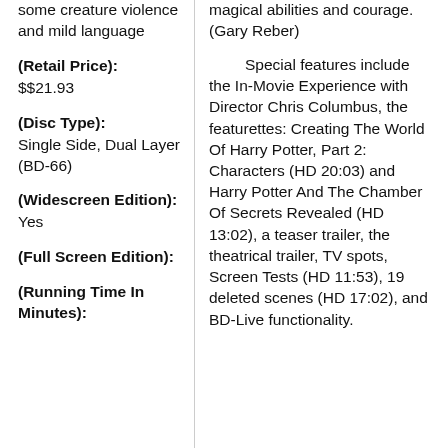some creature violence and mild language
(Retail Price): $$21.93
(Disc Type): Single Side, Dual Layer (BD-66)
(Widescreen Edition): Yes
(Full Screen Edition):
(Running Time In Minutes):
magical abilities and courage. (Gary Reber)
Special features include the In-Movie Experience with Director Chris Columbus, the featurettes: Creating The World Of Harry Potter, Part 2: Characters (HD 20:03) and Harry Potter And The Chamber Of Secrets Revealed (HD 13:02), a teaser trailer, the theatrical trailer, TV spots, Screen Tests (HD 11:53), 19 deleted scenes (HD 17:02), and BD-Live functionality.